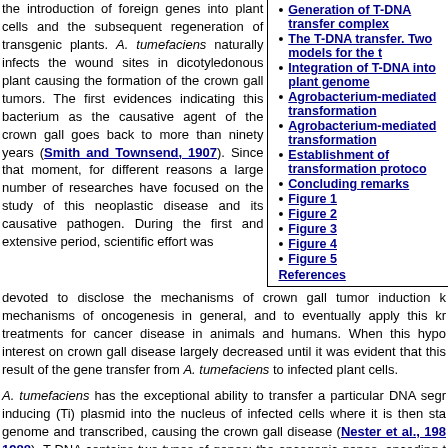the introduction of foreign genes into plant cells and the subsequent regeneration of transgenic plants. A. tumefaciens naturally infects the wound sites in dicotyledonous plant causing the formation of the crown gall tumors. The first evidences indicating this bacterium as the causative agent of the crown gall goes back to more than ninety years (Smith and Townsend, 1907). Since that moment, for different reasons a large number of researches have focused on the study of this neoplastic disease and its causative pathogen. During the first and extensive period, scientific effort was
Generation of T-DNA transfer complex
The T-DNA transfer. Two models for the t
Integration of T-DNA into plant genome
Agrobacterium-mediated transformation
Agrobacterium-mediated transformation
Establishment of transformation protoco
Concluding remarks
Figure 1
Figure 2
Figure 3
Figure 4
Figure 5
References
devoted to disclose the mechanisms of crown gall tumor induction k mechanisms of oncogenesis in general, and to eventually apply this kr treatments for cancer disease in animals and humans. When this hypo interest on crown gall disease largely decreased until it was evident that this result of the gene transfer from A. tumefaciens to infected plant cells.
A. tumefaciens has the exceptional ability to transfer a particular DNA segr inducing (Ti) plasmid into the nucleus of infected cells where it is then sta genome and transcribed, causing the crown gall disease (Nester et al., 198 1988). T-DNA contains two types of genes: the oncogenic genes, encoding t synthesis of auxins and cytokinins and responsible for tumor formation; and synthesis of opines. These compounds, produced by condensation betwee are synthesized and excreted by the crown gall cells and consumed by A. nitrogen sources. Outside the T-DNA, are located the genes for the